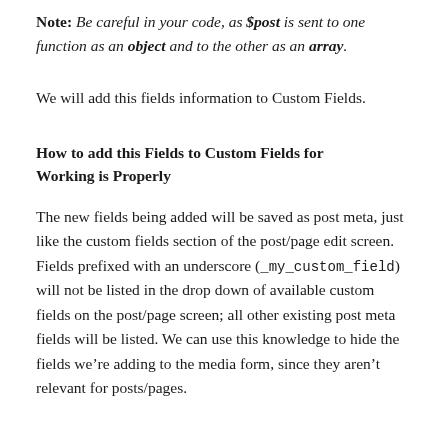Note: Be careful in your code, as $post is sent to one function as an object and to the other as an array.
We will add this fields information to Custom Fields.
How to add this Fields to Custom Fields for Working is Properly
The new fields being added will be saved as post meta, just like the custom fields section of the post/page edit screen. Fields prefixed with an underscore (_my_custom_field) will not be listed in the drop down of available custom fields on the post/page screen; all other existing post meta fields will be listed. We can use this knowledge to hide the fields we’re adding to the media form, since they aren’t relevant for posts/pages.